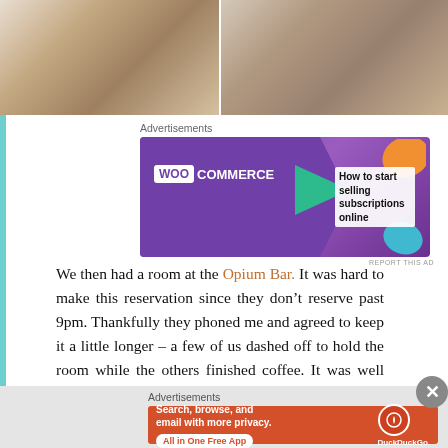[Figure (photo): Two side-by-side restaurant/bar interior photos at the top of the page]
Advertisements
[Figure (other): WooCommerce advertisement banner: 'How to start selling subscriptions online']
We then had a room at the Opium Bar. It was hard to make this reservation since they don't reserve past 9pm. Thankfully they phoned me and agreed to keep it a little longer – a few of us dashed off to hold the room while the others finished coffee. It was well worth it. The room at the back for private groups had low down coffee tables and
Advertisements
[Figure (other): DuckDuckGo advertisement: 'Search, browse, and email with more privacy. All in One Free App']